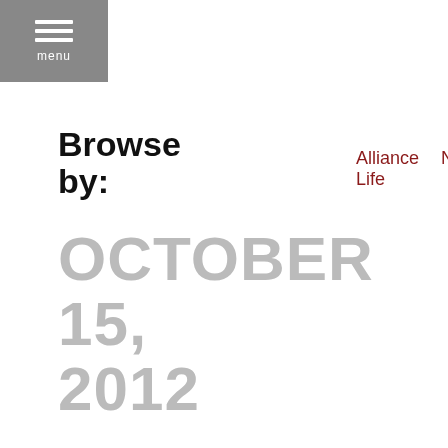[Figure (screenshot): Menu button with three horizontal lines and 'menu' text on grey background]
Browse by:
Alliance Life   News   Video
OCTOBER 15, 2012
[Figure (illustration): Alliance Life magazine cover showing tunnel with light and text 'Why We Leave']
Editorial
Why We Leave
Change is hard. It can also be exciting. When it is a result of God doing marvelous work in various [...] more
[Figure (photo): Bottom left: partial photo of person's face]
[Figure (illustration): Bottom right: Growing text in green]